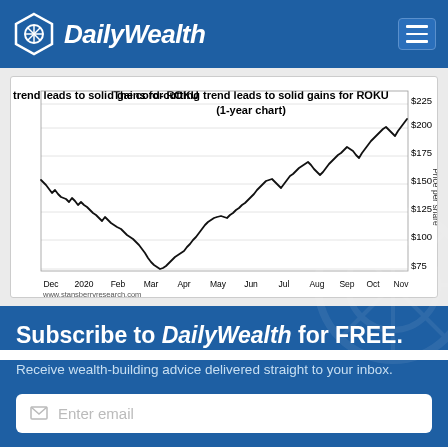DailyWealth
[Figure (continuous-plot): Line chart titled 'The cord-cutting trend leads to solid gains for ROKU (1-year chart)'. Shows ROKU stock price per share from Dec 2019 through Nov 2020. Price starts around $155, dips to a low near $65 in March 2020, then rises steadily to a peak near $230 in November 2020. X-axis labels: Dec, 2020, Feb, Mar, Apr, May, Jun, Jul, Aug, Sep, Oct, Nov. Y-axis labels: $75, $100, $125, $150, $175, $200, $225. Source: www.stansberryresearch.com]
Subscribe to DailyWealth for FREE.
Receive wealth-building advice delivered straight to your inbox.